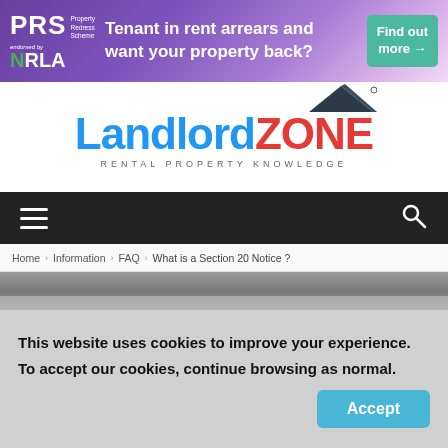[Figure (infographic): PRS / NRLA banner ad: Tenant in rent arrears and want your property back? Find out more →]
[Figure (logo): LandlordZONE logo with house roof icon and tagline RENTAL PROPERTY KNOWLEDGE]
[Figure (infographic): Dark navigation bar with hamburger menu icon on left and search icon on right]
Home › Information › FAQ › What is a Section 20 Notice ?
[Figure (photo): Partial photo strip, muted image]
This website uses cookies to improve your experience. To accept our cookies, continue browsing as normal.